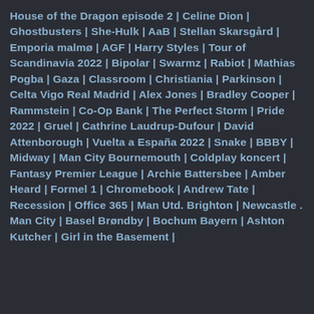House of the Dragon episode 2 | Celine Dion | Ghostbusters | She-Hulk | AaB | Stellan Skarsgård | Emporia malmø | AGF | Harry Styles | Tour of Scandinavia 2022 | Bipolar | Swarmz | Rabiot | Mathias Pogba | Gaza | Classroom | Christiania | Parkinson | Celta Vigo Real Madrid | Alex Jones | Bradley Cooper | Rammstein | Co-Op Bank | The Perfect Storm | Pride 2022 | Gruel | Cathrine Laudrup-Dufour | David Attenborough | Vuelta a España 2022 | Snake | BBBY | Midway | Man City Bournemouth | Coldplay koncert | Fantasy Premier League | Archie Battersbee | Amber Heard | Formel 1 | Chromebook | Andrew Tate | Recession | Office 365 | Man Utd. Brighton | Newcastle . Man City | Basel Brøndby | Bochum Bayern | Ashton Kutcher | Girl in the Basement |